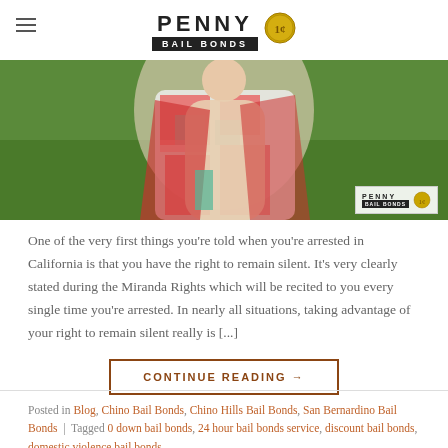PENNY BAIL BONDS
[Figure (photo): Person in a colorful plaid wrap/blanket standing outdoors on grass, with a Penny Bail Bonds watermark logo in the lower right corner]
One of the very first things you’re told when you’re arrested in California is that you have the right to remain silent. It’s very clearly stated during the Miranda Rights which will be recited to you every single time you’re arrested. In nearly all situations, taking advantage of your right to remain silent really is [...]
CONTINUE READING →
Posted in Blog, Chino Bail Bonds, Chino Hills Bail Bonds, San Bernardino Bail Bonds | Tagged 0 down bail bonds, 24 hour bail bonds service, discount bail bonds, domestic violence bail bonds,